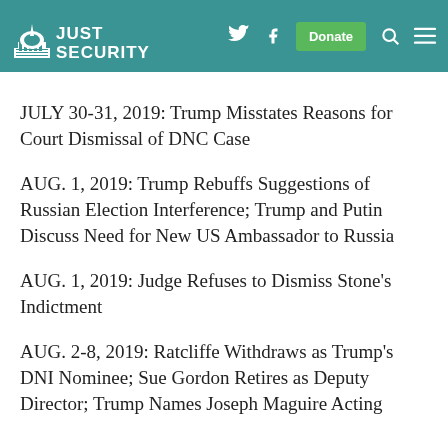JUST SECURITY
JULY 30-31, 2019: Trump Misstates Reasons for Court Dismissal of DNC Case
AUG. 1, 2019: Trump Rebuffs Suggestions of Russian Election Interference; Trump and Putin Discuss Need for New US Ambassador to Russia
AUG. 1, 2019: Judge Refuses to Dismiss Stone's Indictment
AUG. 2-8, 2019: Ratcliffe Withdraws as Trump's DNI Nominee; Sue Gordon Retires as Deputy Director; Trump Names Joseph Maguire Acting